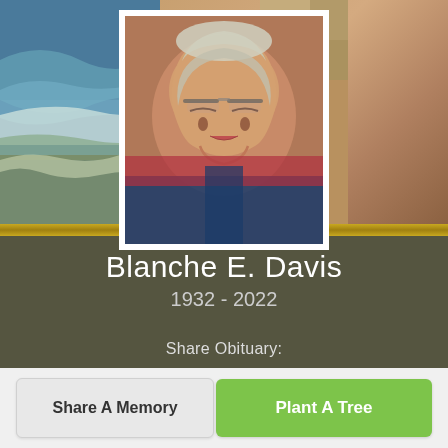[Figure (photo): Portrait photo of an elderly woman with white/gray hair, glasses, smiling, wearing a blue top and red top layer. Background shows beach/ocean scene on left and warm tan interior on right.]
Blanche E. Davis
1932 - 2022
Share Obituary:
Share A Memory
Plant A Tree